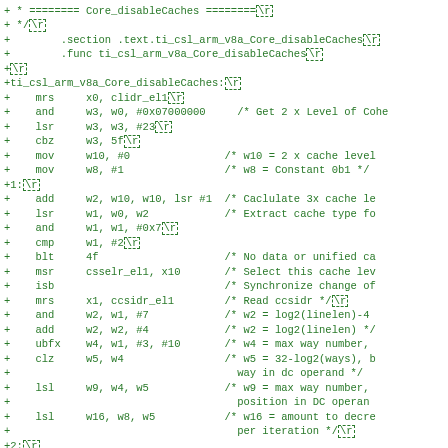[Figure (other): Assembly/C source code diff showing ARM v8a Core_disableCaches function implementation with green diff markers and assembly instructions with comments]